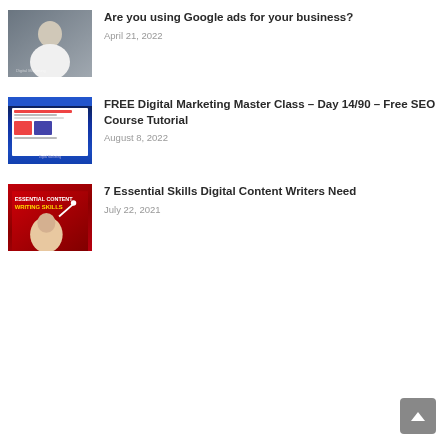[Figure (photo): Thumbnail image of a person in white t-shirt standing in front of a glass door]
Are you using Google ads for your business?
April 21, 2022
[Figure (screenshot): Screenshot of a website or digital marketing dashboard with blue and white interface]
FREE Digital Marketing Master Class – Day 14/90 – Free SEO Course Tutorial
August 8, 2022
[Figure (photo): Thumbnail with red background showing text 'ESSENTIAL CONTENT WRITING SKILLS' and a person pointing upward]
7 Essential Skills Digital Content Writers Need
July 22, 2021